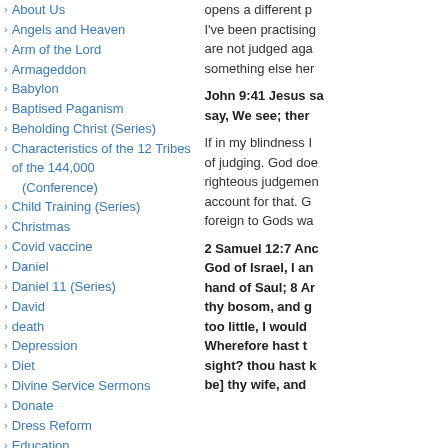About Us
Angels and Heaven
Arm of the Lord
Armageddon
Babylon
Baptised Paganism
Beholding Christ (Series)
Characteristics of the 12 Tribes of the 144,000 (Conference)
Child Training (Series)
Christmas
Covid vaccine
Daniel
Daniel 11 (Series)
David
death
Depression
Diet
Divine Service Sermons
Donate
Dress Reform
Education
opens a different p I've been practising are not judged aga something else her
John 9:41 Jesus sa say, We see; ther
If in my blindness I of judging. God doe righteous judgemen account for that. G foreign to Gods wa
2 Samuel 12:7 Anc God of Israel, I an hand of Saul; 8 Ar thy bosom, and g too little, I would Wherefore hast t sight? thou hast k be] thy wife, and